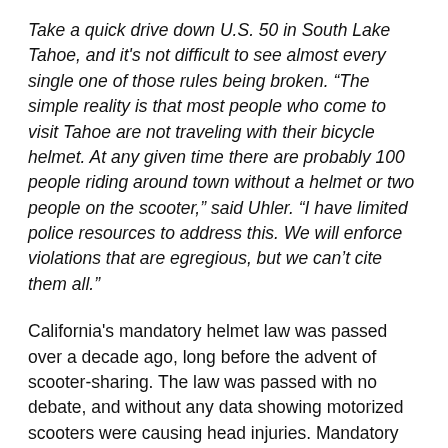Take a quick drive down U.S. 50 in South Lake Tahoe, and it's not difficult to see almost every single one of those rules being broken. “The simple reality is that most people who come to visit Tahoe are not traveling with their bicycle helmet. At any given time there are probably 100 people riding around town without a helmet or two people on the scooter,” said Uhler. “I have limited police resources to address this. We will enforce violations that are egregious, but we can’t cite them all.”
California's mandatory helmet law was passed over a decade ago, long before the advent of scooter-sharing. The law was passed with no debate, and without any data showing motorized scooters were causing head injuries. Mandatory helmet laws helped kill off early bike-share experiments, so it is imperative to remove this provision in the vehicle code.